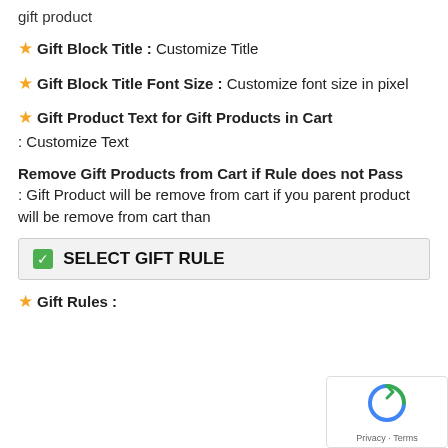gift product
★ Gift Block Title : Customize Title
★ Gift Block Title Font Size : Customize font size in pixel
★ Gift Product Text for Gift Products in Cart : Customize Text
Remove Gift Products from Cart if Rule does not Pass : Gift Product will be remove from cart if you parent product will be remove from cart than
✅ SELECT GIFT RULE
★ Gift Rules :